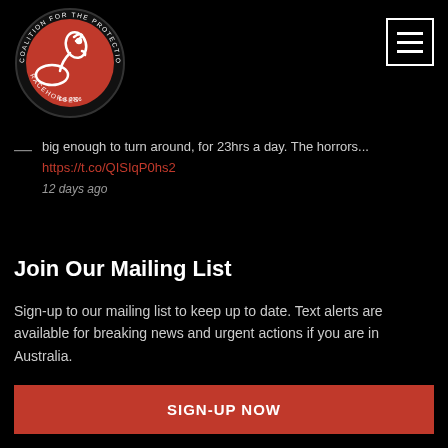[Figure (logo): Coalition for the Protection of Racehorses circular logo — red background with white horse silhouette, black border with text around edge, Est. 2006]
big enough to turn around, for 23hrs a day. The horrors... https://t.co/QISIqP0hs2
12 days ago
Join Our Mailing List
Sign-up to our mailing list to keep up to date. Text alerts are available for breaking news and urgent actions if you are in Australia.
SIGN-UP NOW